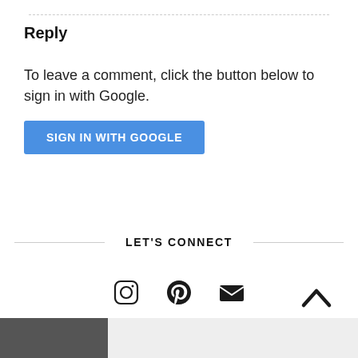Reply
To leave a comment, click the button below to sign in with Google.
[Figure (other): Blue 'SIGN IN WITH GOOGLE' button]
LET'S CONNECT
[Figure (other): Social media icons: Instagram, Pinterest, Email/Envelope]
[Figure (other): Back to top chevron arrow icon]
[Figure (photo): Partial bottom image strip showing dark and light sections]